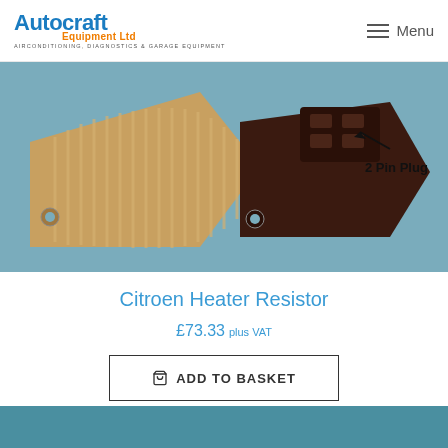Autocraft Equipment Ltd — AIRCONDITIONING, DIAGNOSTICS & GARAGE EQUIPMENT — Menu
[Figure (photo): Close-up photo of a Citroen heater resistor component showing two views: left side with copper/metal heat sink fins, and right side showing the back of the resistor with connector housing and an arrow pointing to a '2 Pin Plug']
Citroen Heater Resistor
£73.33 plus VAT
ADD TO BASKET